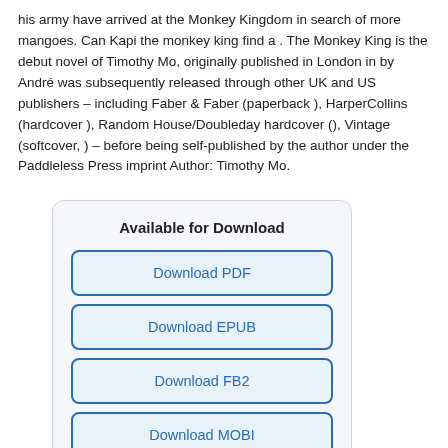his army have arrived at the Monkey Kingdom in search of more mangoes. Can Kapi the monkey king find a . The Monkey King is the debut novel of Timothy Mo, originally published in London in by André was subsequently released through other UK and US publishers – including Faber & Faber (paperback ), HarperCollins (hardcover ), Random House/Doubleday hardcover (), Vintage (softcover, ) – before being self-published by the author under the Paddleless Press imprint Author: Timothy Mo.
Available for Download
Download PDF
Download EPUB
Download FB2
Download MOBI
Download TXT